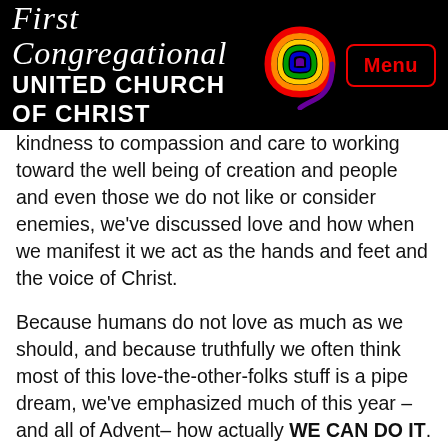First Congregational UNITED CHURCH OF CHRIST
kindness to compassion and care to working toward the well being of creation and people and even those we do not like or consider enemies, we've discussed love and how when we manifest it we act as the hands and feet and the voice of Christ.
Because humans do not love as much as we should, and because truthfully we often think most of this love-the-other-folks stuff is a pipe dream, we've emphasized much of this year – and all of Advent– how actually WE CAN DO IT.
Christmas season evidences that Love is not